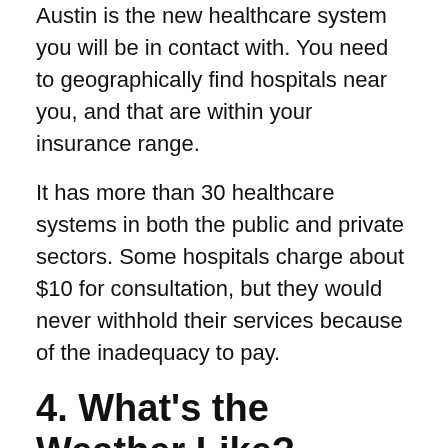Austin is the new healthcare system you will be in contact with. You need to geographically find hospitals near you, and that are within your insurance range.
It has more than 30 healthcare systems in both the public and private sectors. Some hospitals charge about $10 for consultation, but they would never withhold their services because of the inadequacy to pay.
4. What's the Weather Like?
With New York City gloominess, Austin has